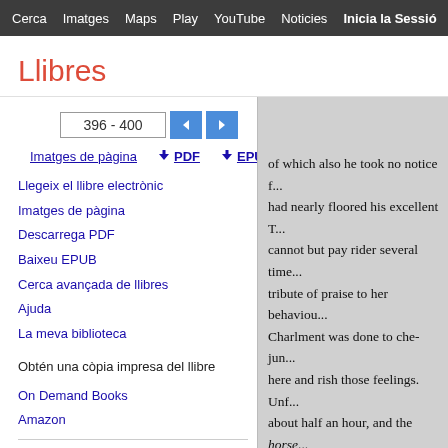Cerca  Imatges  Maps  Play  YouTube  Noticies  Inicia la Sessio  Me  [settings]
Llibres
396 - 400 [prev] [next]
Imatges de pàgina  ↓ PDF  ↓ EPUB
Llegeix el llibre electrònic
Imatges de pàgina
Descarrega PDF
Baixeu EPUB
Cerca avançada de llibres
Ajuda
La meva biblioteca
Obtén una còpia impresa del llibre
On Demand Books
Amazon
Cerca en una biblioteca
Tots els venedors »
[Figure (screenshot): Book preview panel showing partial text from a book page, with gray background at top and text about a horse and riders.]